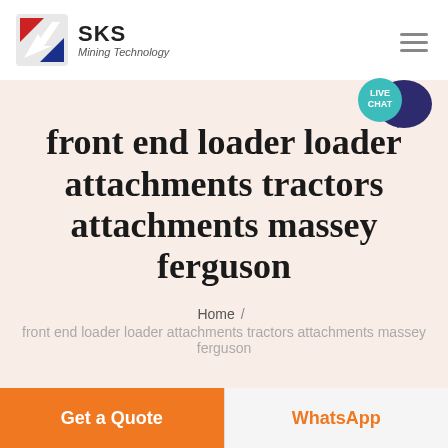SKS Mining Technology
front end loader loader attachments tractors attachments massey ferguson
Home / front end loader loader attachments tractors attachments massey ferguson
Get a Quote
WhatsApp